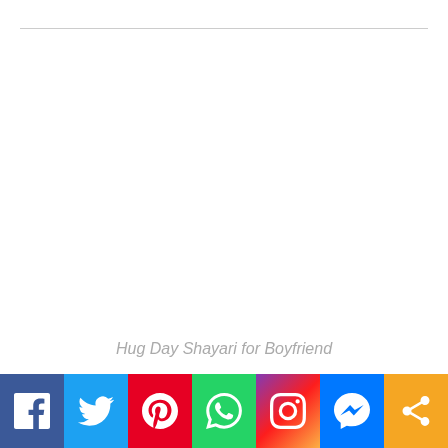Hug Day Shayari for Boyfriend
[Figure (infographic): Social media share bar with Facebook, Twitter, Pinterest, WhatsApp, Instagram, Messenger, and share icons]